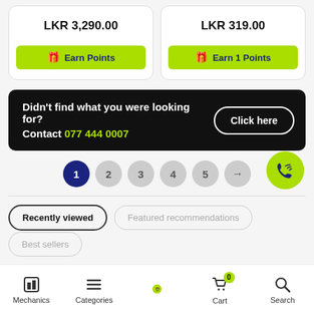LKR 3,290.00
LKR 319.00
Earn Points
Earn 1 Points
Didn't find what you were looking for? Contact 077 444 0007
Click here
1 2 3 4 5 →
Recently viewed
Featured recommendations
Mechanics  Categories  Cart  Search